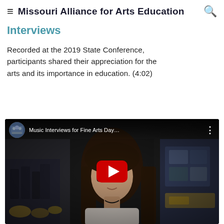Missouri Alliance for Arts Education
Interviews
Recorded at the 2019 State Conference, participants shared their appreciation for the arts and its importance in education. (4:02)
[Figure (screenshot): YouTube video thumbnail showing a woman with glasses and long brown hair in front of an event setting. Video title reads 'Music Interviews for Fine Arts Day...' with a red YouTube play button overlay.]